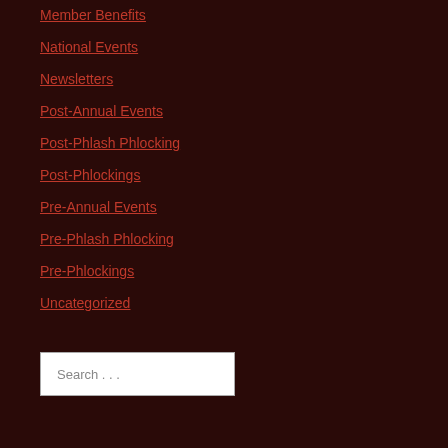Member Benefits
National Events
Newsletters
Post-Annual Events
Post-Phlash Phlocking
Post-Phlockings
Pre-Annual Events
Pre-Phlash Phlocking
Pre-Phlockings
Uncategorized
Search ...